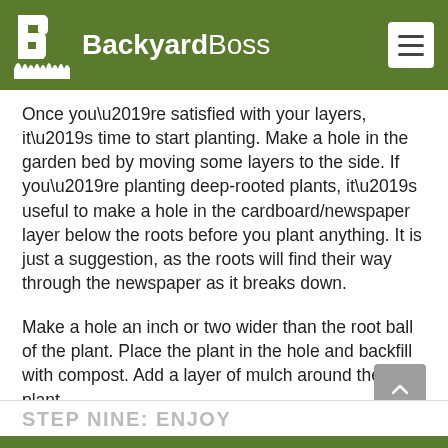BackyardBoss
Once you’re satisfied with your layers, it’s time to start planting. Make a hole in the garden bed by moving some layers to the side. If you’re planting deep-rooted plants, it’s useful to make a hole in the cardboard/newspaper layer below the roots before you plant anything. It is just a suggestion, as the roots will find their way through the newspaper as it breaks down.
Make a hole an inch or two wider than the root ball of the plant. Place the plant in the hole and backfill with compost. Add a layer of mulch around the plant.
STEP NINE: ENJOY